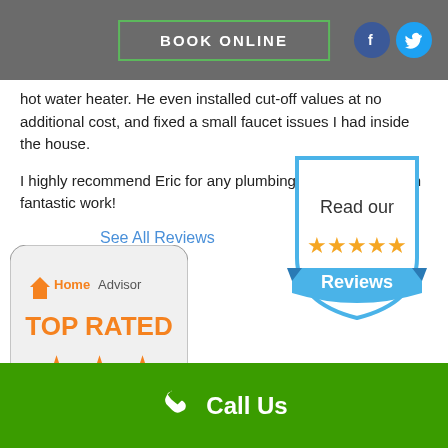BOOK ONLINE
hot water heater. He even installed cut-off values at no additional cost, and fixed a small faucet issues I had inside the house.
I highly recommend Eric for any plumbing work, hands down fantastic work!
See All Reviews
[Figure (logo): Read our 5-star Reviews badge with blue shield shape and gold stars]
[Figure (logo): HomeAdvisor Top Rated badge with orange stars]
Call Us